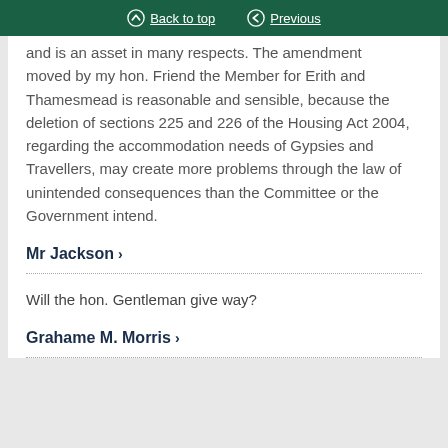Back to top | Previous
and is an asset in many respects. The amendment moved by my hon. Friend the Member for Erith and Thamesmead is reasonable and sensible, because the deletion of sections 225 and 226 of the Housing Act 2004, regarding the accommodation needs of Gypsies and Travellers, may create more problems through the law of unintended consequences than the Committee or the Government intend.
Mr Jackson >
Will the hon. Gentleman give way?
Grahame M. Morris >